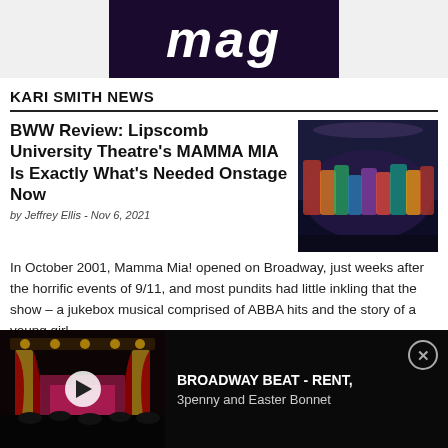[Figure (logo): BWW mag logo — dark purple background with white italic bold 'mag' text]
KARI SMITH NEWS
BWW Review: Lipscomb University Theatre's MAMMA MIA Is Exactly What's Needed Onstage Now
by Jeffrey Ellis - Nov 6, 2021
[Figure (photo): Cast photo from Mamma Mia stage production, colorful costumes on stage]
In October 2001, Mamma Mia! opened on Broadway, just weeks after the horrific events of 9/11, and most pundits had little inkling that the show – a jukebox musical comprised of ABBA hits and the story of a young girl
[Figure (screenshot): Ad banner: Broadway Beat video thumbnail showing theater interior with red curtain and play button, with text BROADWAY BEAT - RENT, 3penny and Easter Bonnet]